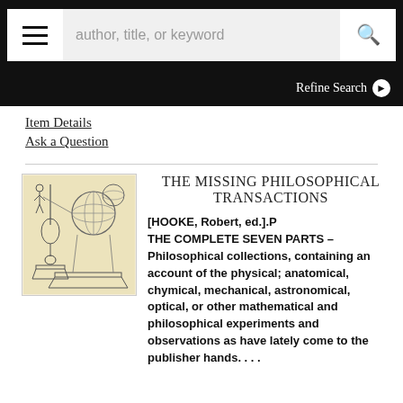author, title, or keyword | Refine Search
Item Details
Ask a Question
THE MISSING PHILOSOPHICAL TRANSACTIONS
[HOOKE, Robert, ed.].P
THE COMPLETE SEVEN PARTS – Philosophical collections, containing an account of the physical; anatomical, chymical, mechanical, astronomical, optical, or other mathematical and philosophical experiments and observations as have lately come to the publisher hands. . . .
[Figure (illustration): Antique engraving/illustration of astronomical and mechanical devices including pendulum, spheres, and geometric instruments on aged paper background]